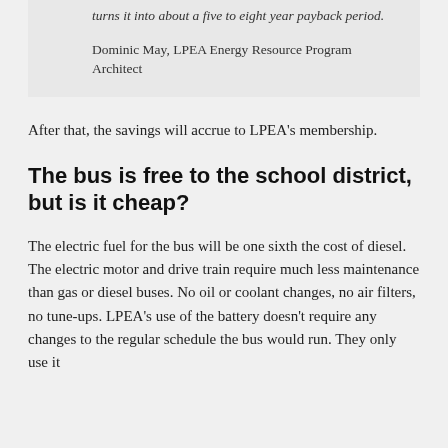turns it into about a five to eight year payback period.
Dominic May, LPEA Energy Resource Program Architect
After that, the savings will accrue to LPEA’s membership.
The bus is free to the school district, but is it cheap?
The electric fuel for the bus will be one sixth the cost of diesel. The electric motor and drive train require much less maintenance than gas or diesel buses. No oil or coolant changes, no air filters, no tune-ups. LPEA’s use of the battery doesn’t require any changes to the regular schedule the bus would run. They only use it